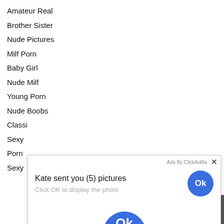Amateur Real
Brother Sister
Nude Pictures
Milf Porn
Baby Girl
Nude Milf
Young Porn
Nude Boobs
Classi
Sexy
Porn
Sexy
[Figure (screenshot): Ad overlay popup from ClickAdilla showing 'Kate sent you (5) pictures' with 'Click OK to display the photo' subtitle, an Ok button, and a partial blue circle at the bottom.]